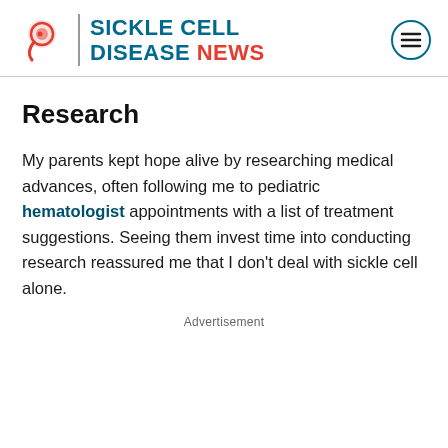[Figure (logo): Sickle Cell Disease News logo with red cell icon, vertical divider, teal text 'SICKLE CELL DISEASE' and red 'NEWS', plus circular hamburger menu icon on the right]
Research
My parents kept hope alive by researching medical advances, often following me to pediatric hematologist appointments with a list of treatment suggestions. Seeing them invest time into conducting research reassured me that I don't deal with sickle cell alone.
Advertisement